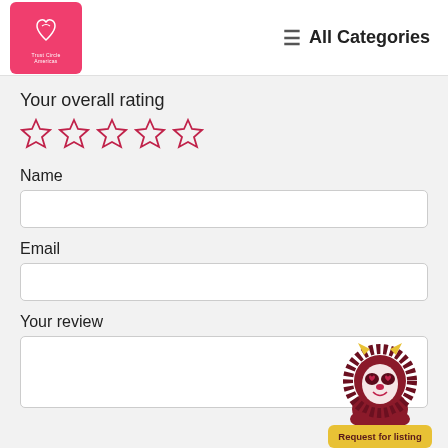All Categories
Your overall rating
[Figure (illustration): Five empty star rating icons in pink/red outline style]
Name
Email
Your review
[Figure (illustration): Lion mascot character with sunglasses and a yellow 'Request for listing' button]